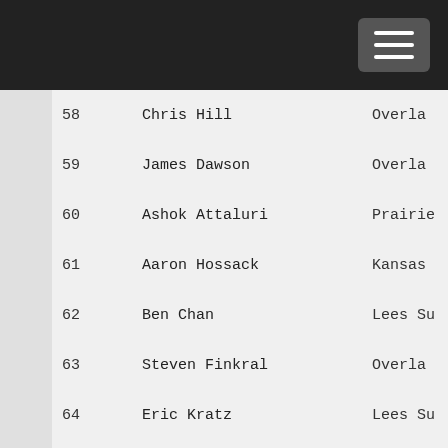| # | Name | City |
| --- | --- | --- |
| 58 | Chris Hill | Overla… |
| 59 | James Dawson | Overla… |
| 60 | Ashok Attaluri | Prairie… |
| 61 | Aaron Hossack | Kansas… |
| 62 | Ben Chan | Lees Su… |
| 63 | Steven Finkral | Overla… |
| 64 | Eric Kratz | Lees Su… |